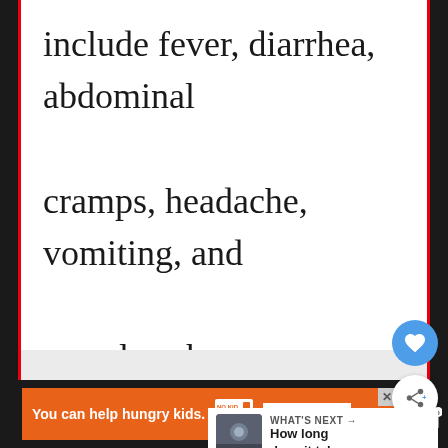include fever, diarrhea, abdominal cramps, headache, vomiting, and muscle aches.
[Figure (screenshot): UI overlay with heart (like/save) button in blue circle, share button in white circle, and a 'WHAT'S NEXT' card showing a thumbnail image and text 'How long does it take...']
[Figure (screenshot): Advertisement banner at bottom: orange background with text 'You can help hungry kids.' and No Kid Hungry logo, with a 'LEARN HOW' button.]